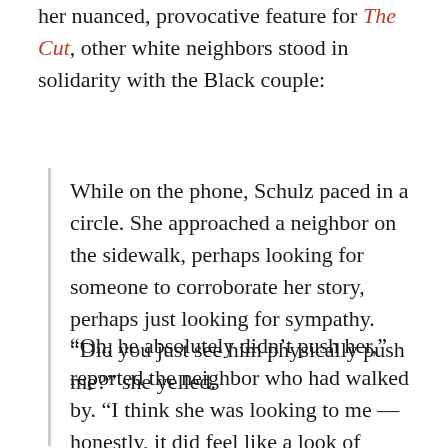her nuanced, provocative feature for The Cut, other white neighbors stood in solidarity with the Black couple:
While on the phone, Schulz paced in a circle. She approached a neighbor on the sidewalk, perhaps looking for someone to corroborate her story, perhaps just looking for sympathy. “Did you just see him physically push me?” she yelled.
“Oh, he absolutely didn’t push her,” reported the neighbor who had walked by. “I think she was looking to me — honestly, it did feel like a look of incredulity. Can you believe what he’s saying to me? I understand she was upset, but that’s just an